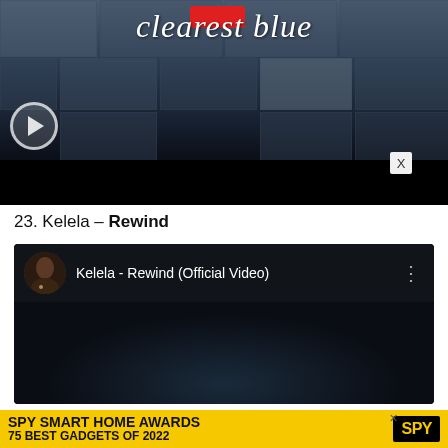[Figure (screenshot): YouTube video thumbnail showing 'clearest blue' title text over a dark cloudy sky with mosaic tile overlay and a circular play button icon at bottom left]
23. Kelela – Rewind
[Figure (screenshot): YouTube video embed showing 'Kelela - Rewind (Official Video)' with artist thumbnail portrait on left, title text in white, and three-dot menu icon on right, dark blue background below]
[Figure (screenshot): Advertisement banner: SPY SMART HOME AWARDS 75 BEST GADGETS OF 2022 with SPY logo on yellow background]